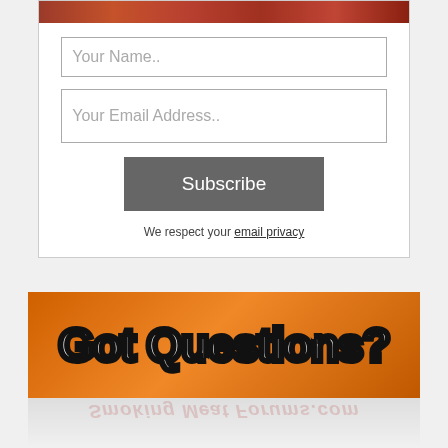[Figure (photo): Food/meat image at top of subscription form]
Your Name..
Your Email Address..
Subscribe
We respect your email privacy
[Figure (infographic): Orange banner with bold white text reading 'Got Questions?' with reflection below showing Smoking Meat Forums logo]